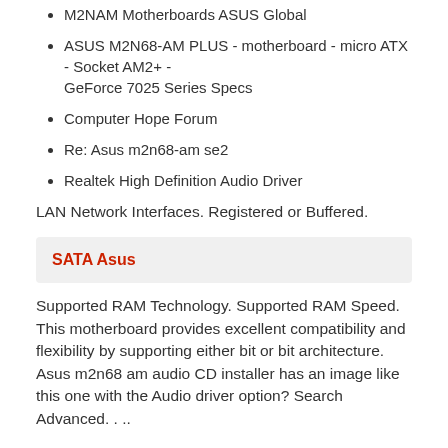M2NAM Motherboards ASUS Global
ASUS M2N68-AM PLUS - motherboard - micro ATX - Socket AM2+ - GeForce 7025 Series Specs
Computer Hope Forum
Re: Asus m2n68-am se2
Realtek High Definition Audio Driver
LAN Network Interfaces. Registered or Buffered.
SATA Asus
Supported RAM Technology. Supported RAM Speed. This motherboard provides excellent compatibility and flexibility by supporting either bit or bit architecture. Asus m2n68 am audio CD installer has an image like this one with the Audio driver option? Search Advanced. . ..
M2N68 Motherboards ASUS